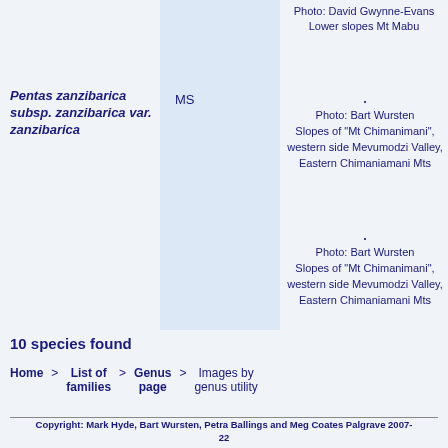Photo: David Gwynne-Evans
Lower slopes Mt Mabu
Pentas zanzibarica subsp. zanzibarica var. zanzibarica
MS
Photo: Bart Wursten
Slopes of "Mt Chimanimani", western side Mevumodzi Valley, Eastern Chimaniamani Mts
Photo: Bart Wursten
Slopes of "Mt Chimanimani", western side Mevumodzi Valley, Eastern Chimaniamani Mts
10 species found
Home > List of families > Genus page > Images by genus utility
Copyright: Mark Hyde, Bart Wursten, Petra Ballings and Meg Coates Palgrave 2007-22